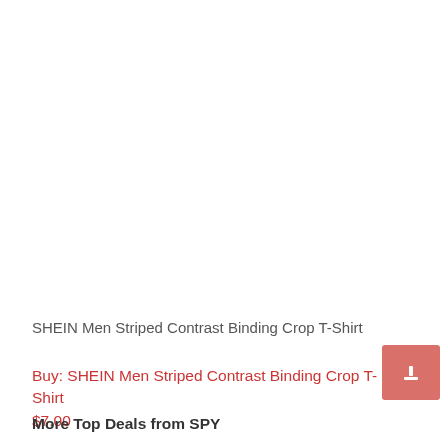[Figure (photo): White blank product image area for SHEIN Men Striped Contrast Binding Crop T-Shirt]
SHEIN Men Striped Contrast Binding Crop T-Shirt
Buy: SHEIN Men Striped Contrast Binding Crop T-Shirt
$7.00
More Top Deals from SPY